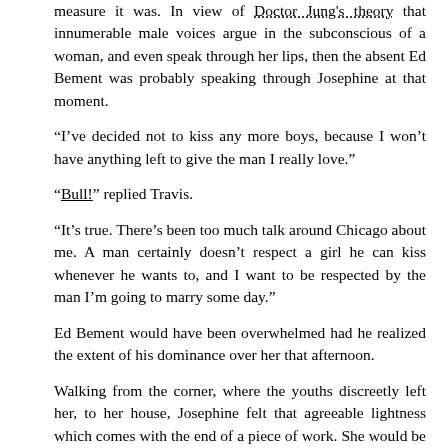measure it was. In view of Doctor Jung's theory that innumerable male voices argue in the subconscious of a woman, and even speak through her lips, then the absent Ed Bement was probably speaking through Josephine at that moment.
“I’ve decided not to kiss any more boys, because I won’t have anything left to give the man I really love.”
“Bull!” replied Travis.
“It’s true. There’s been too much talk around Chicago about me. A man certainly doesn’t respect a girl he can kiss whenever he wants to, and I want to be respected by the man I’m going to marry some day.”
Ed Bement would have been overwhelmed had he realized the extent of his dominance over her that afternoon.
Walking from the corner, where the youths discreetly left her, to her house, Josephine felt that agreeable lightness which comes with the end of a piece of work. She would be a good girl now forever, see less of boys, as her parents wished, try to be what Miss Benbower’s school denominated ‘An Ideal Benbower Girl’. Then next year, at Brearley, she could be an ‘Ideal Brearley Girl’. But the